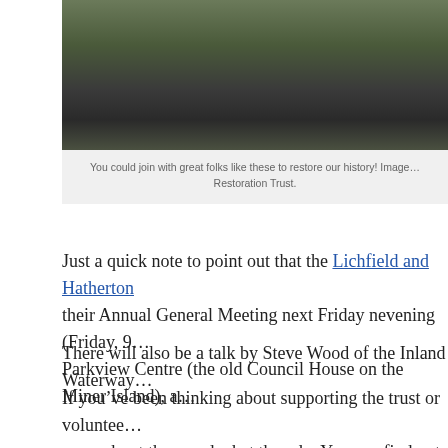[Figure (photo): Outdoor photo showing people working on ground with leaves and grass, boots visible, restoration work scene]
You could join with great folks like these to restore our history! Image … Restoration Trust.
Just a quick note to point out that the Lichfield and Hatherton … their Annual General Meeting next Friday nevening (Friday, 9… Parkview Centre (the old Council House on the Miner Island), a…
There will also be a talk by Steve Wood of the Inland Waterway…
If you've been thinking about supporting the trust or voluntee… more about them and what they do. You can find out more abo… this excellent blog post by Christine Howles.